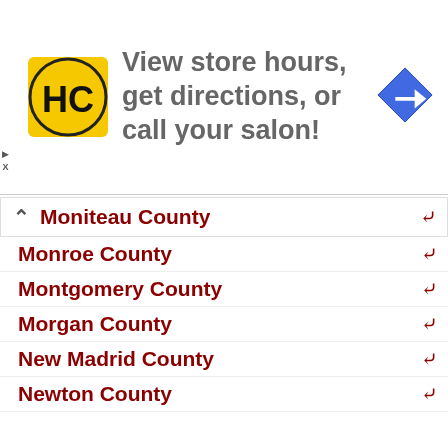[Figure (screenshot): Advertisement banner for a hair salon chain (HC logo) with text 'View store hours, get directions, or call your salon!' and a blue navigation arrow icon on the right.]
Moniteau County
Monroe County
Montgomery County
Morgan County
New Madrid County
Newton County
Nodaway County
Oregon County
Osage County
Ozark County